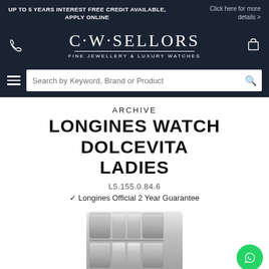UP TO 5 YEARS INTEREST FREE CREDIT AVAILABLE, APPLY ONLINE | Click here for more details >
[Figure (logo): C·W·SELLORS Fine Jewellery & Luxury Watches logo on dark navy background with phone icon on left and shopping bag icon on right]
Search by Keyword, Brand or Product
ARCHIVE
LONGINES WATCH DOLCEVITA LADIES
L5.155.0.84.6
✓ Longines Official 2 Year Guarantee
[Figure (photo): Close-up of a Longines watch bracelet in stainless steel, showing the link detail]